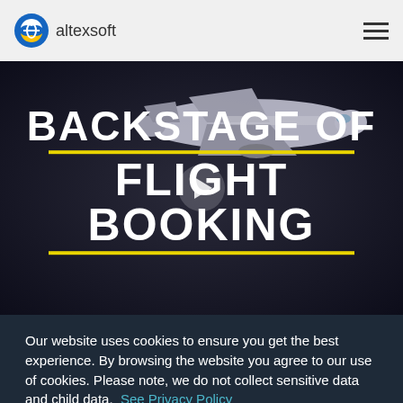[Figure (logo): altexsoft logo with blue circular icon and text 'altexsoft']
[Figure (screenshot): Video thumbnail showing an airplane on dark background with text 'BACKSTAGE OF FLIGHT BOOKING' in bold white letters with yellow underlines and a play button in the center]
Our website uses cookies to ensure you get the best experience. By browsing the website you agree to our use of cookies. Please note, we do not collect sensitive data and child data.  See Privacy Policy
Ok! Don't show it again